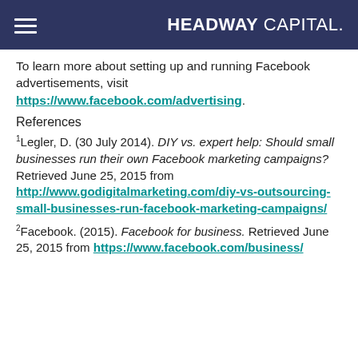HEADWAY CAPITAL.
To learn more about setting up and running Facebook advertisements, visit https://www.facebook.com/advertising.
References
1Legler, D. (30 July 2014). DIY vs. expert help: Should small businesses run their own Facebook marketing campaigns? Retrieved June 25, 2015 from http://www.godigitalmarketing.com/diy-vs-outsourcing-small-businesses-run-facebook-marketing-campaigns/
2Facebook. (2015). Facebook for business. Retrieved June 25, 2015 from https://www.facebook.com/business/